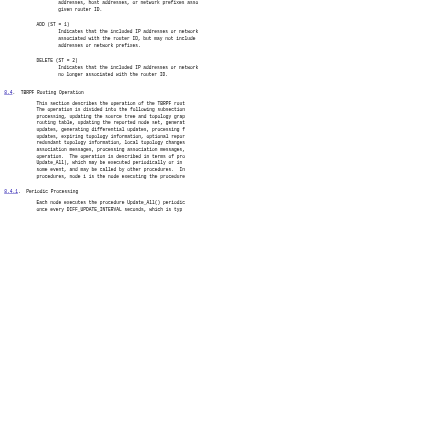addresses, host addresses, or network prefixes associated with a given router ID.
ADD (ST = 1)
    Indicates that the included IP addresses or network prefixes are associated with the router ID, but may not include all addresses or network prefixes.
DELETE (ST = 2)
    Indicates that the included IP addresses or network prefixes are no longer associated with the router ID.
8.4.  TBRPF Routing Operation
This section describes the operation of the TBRPF routing module. The operation is divided into the following subsections: processing, updating the source tree and topology graph, updating the routing table, updating the reported node set, generating full updates, generating differential updates, processing full updates, expiring topology information, optional reporting of redundant topology information, local topology changes, generating association messages, processing association messages, and multicast operation.  The operation is described in terms of procedures (e.g., Update_All), which may be executed periodically or in response to some event, and may be called by other procedures.  In all procedures, node i is the node executing the procedure.
8.4.1.  Periodic Processing
Each node executes the procedure Update_All() periodically, once every DIFF_UPDATE_INTERVAL seconds, which is typ